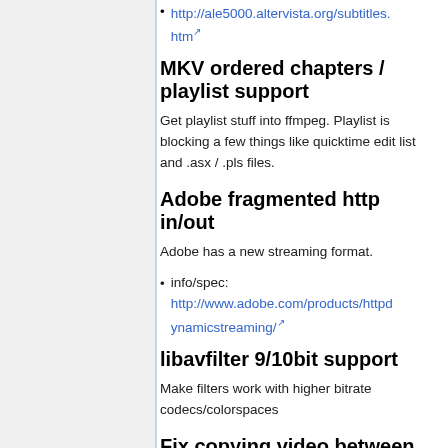http://ale5000.altervista.org/subtitles.htm
MKV ordered chapters / playlist support
Get playlist stuff into ffmpeg. Playlist is blocking a few things like quicktime edit list and .asx / .pls files.
Adobe fragmented http in/out
Adobe has a new streaming format.
info/spec: http://www.adobe.com/products/httpdynamicstreaming/
libavfilter 9/10bit support
Make filters work with higher bitrate codecs/colorspaces
Fix copying video between